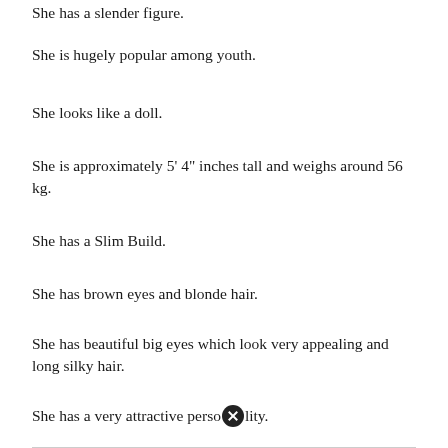She has a slender figure.
She is hugely popular among youth.
She looks like a doll.
She is approximately 5' 4" inches tall and weighs around 56 kg.
She has a Slim Build.
She has brown eyes and blonde hair.
She has beautiful big eyes which look very appealing and long silky hair.
She has a very attractive personality.